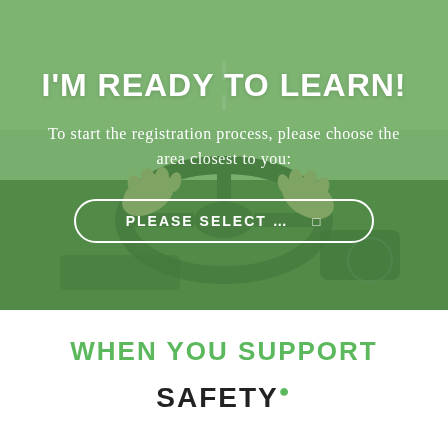[Figure (photo): Person's hands on a car steering wheel, viewed from driver's perspective inside a car, with green overlay tint]
I'M READY TO LEARN!
To start the registration process, please choose the area closest to you:
PLEASE SELECT ...
WHEN YOU SUPPORT
SAFETY